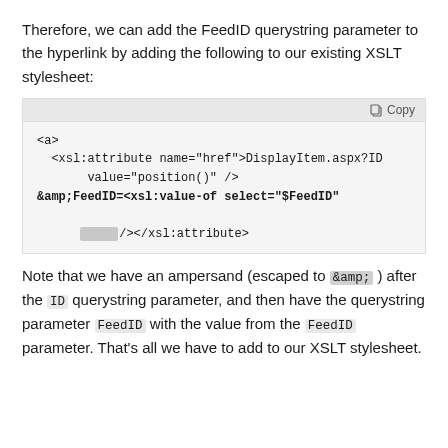Therefore, we can add the FeedID querystring parameter to the hyperlink by adding the following to our existing XSLT stylesheet:
[Figure (screenshot): Code block showing XSLT markup with a Copy button in the header bar. Code: <a>
  <xsl:attribute name="href">DisplayItem.aspx?ID=
       value="position()" />
&amp;FeedID=<xsl:value-of select="$FeedID"

        /></xsl:attribute>]
Note that we have an ampersand (escaped to &amp; ) after the ID querystring parameter, and then have the querystring parameter FeedID with the value from the FeedID parameter. That's all we have to add to our XSLT stylesheet.